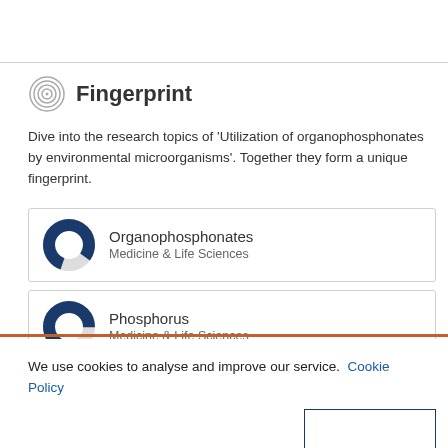Fingerprint
Dive into the research topics of 'Utilization of organophosphonates by environmental microorganisms'. Together they form a unique fingerprint.
Organophosphonates Medicine & Life Sciences
Phosphorus Medicine & Life Sciences
We use cookies to analyse and improve our service. Cookie Policy